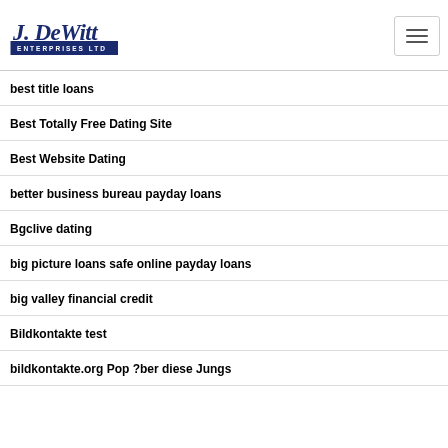J. DeWitt Enterprises Ltd
best title loans
Best Totally Free Dating Site
Best Website Dating
better business bureau payday loans
Bgclive dating
big picture loans safe online payday loans
big valley financial credit
Bildkontakte test
bildkontakte.org Pop ?ber diese Jungs